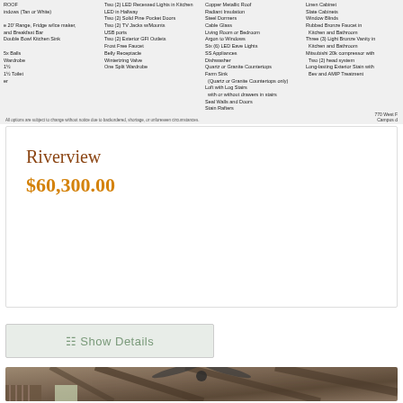Roof: Windows (Tan or White), 20' Range, Fridge w/Ice maker, and Breakfast Bar, Double Bowl Kitchen Sink, 5x Balls, Wardrobe, 1½ Toilet, LED in Hallway, Two (2) Solid Pine Pocket Doors, Two (2) TV Jacks w/Mounts, USB ports, Two (2) Exterior GFI Outlets, Frost Free Faucet, Belly Receptacle, Winterizing Valve, One Split Wardrobe. Copper Metallic Roof, Radiant Insulation, Steel Dormers, Cable Glass, Living Room or Bedroom, Argon to Windows, Six (6) LED Eave Lights, SS Appliances, Dishwasher, Quartz or Granite Countertops, Farm Sink (Quartz or Granite Countertops only), Loft with Log Stairs, with or without drawers in stairs, Seal Walls and Doors, Stain Rafters. Linen Cabinet, Slate Cabinets, Window Blinds, Rubbed Bronze Faucet in Kitchen and Bathroom, Three (3) Light Bronze Vanity in Kitchen and Bathroom, Mitsubishi 20k compressor with Two (2) head system, Long-lasting Exterior Stain with Bev and AMIP Treatment.
All options are subject to change without notice due to backordered, shortage, or unforeseen circumstances.
770 West F Campus d
Riverview
$60,300.00
Show Details
[Figure (photo): Interior photo showing wooden ceiling with exposed log beams and a ceiling fan with lights, wooden loft railing visible in lower left, and a window with natural light in background]